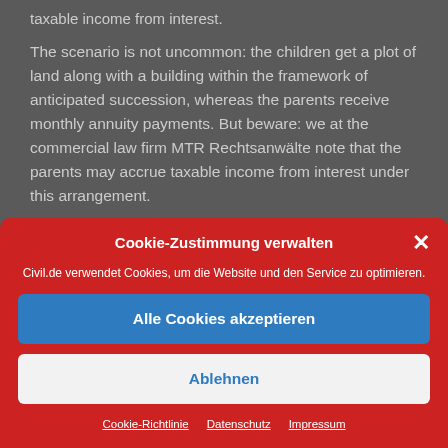taxable income from interest.
The scenario is not uncommon: the children get a plot of land along with a building within the framework of anticipated succession, whereas the parents receive monthly annuity payments. But beware: we at the commercial law firm MTR Rechtsanwälte note that the parents may accrue taxable income from interest under this arrangement.
[Figure (screenshot): Cookie consent modal dialog with red background. Title: 'Cookie-Zustimmung verwalten' with a close (×) button. Body text: 'Civil.de verwendet Cookies, um die Website und den Service zu optimieren.' Two buttons: 'Alle Cookies akzeptieren' (blue) and 'Ablehnen' (white/light). Footer links: Cookie-Richtlinie, Datenschutz, Impressum.]